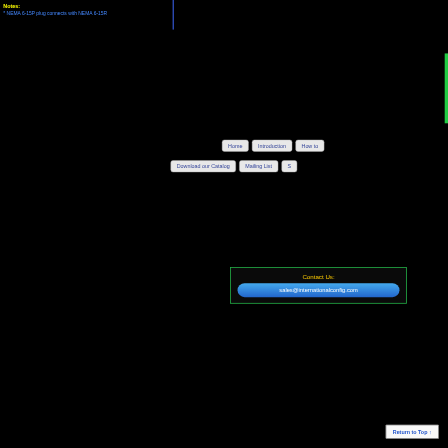Notes:
* NEMA 6-15P plug connects with NEMA 6-15R
Home  Introduction  How to
Download our Catalog  Mailing List  S
Contact Us:
sales@internationalconfig.com
Return to Top